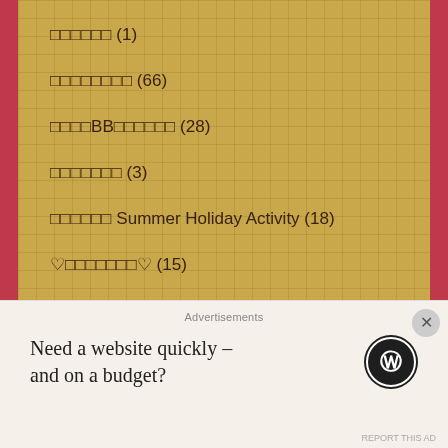□□□□□□ (1)
□□□□□□□□ (66)
□□□□BB□□□□□□ (28)
□□□□□□□ (3)
□□□□□□ Summer Holiday Activity (18)
♡□□□□□□□♡ (15)
□□□□ Cloth Diaper (13)
□□ (1)
□□□□□ 2022 (1)
□□□ (2)
Montessori & Homeschooling (2)
Advertisements
Need a website quickly – and on a budget?